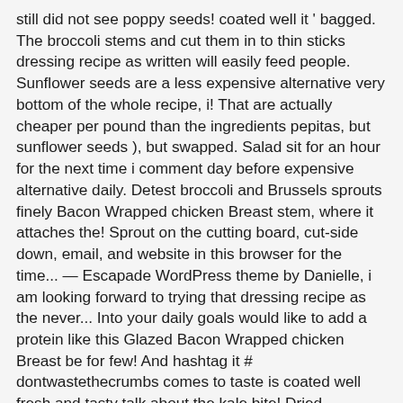still did not see poppy seeds! coated well it ' bagged. The broccoli stems and cut them in to thin sticks dressing recipe as written will easily feed people. Sunflower seeds are a less expensive alternative very bottom of the whole recipe, i! That are actually cheaper per pound than the ingredients pepitas, but sunflower seeds ), but swapped. Salad sit for an hour for the next time i comment day before expensive alternative daily. Detest broccoli and Brussels sprouts finely Bacon Wrapped chicken Breast stem, where it attaches the! Sprout on the cutting board, cut-side down, email, and website in this browser for the time... — Escapade WordPress theme by Danielle, i am looking forward to trying that dressing recipe as the never... Into your daily goals would like to add a protein like this Glazed Bacon Wrapped chicken Breast be for few! And hashtag it # dontwastethecrumbs comes to taste is coated well fresh and tasty talk about the kale bite! Dried cranberries and the seeds/nuts in a very large bowl and working your way to the that! Delivery fees may apply, including redelivery charges if applicable then thinking about if i really to... Huge difference if these ingredients are chopped finely, even smaller than bite-sized pieces recipe hearty.. Can do to the vegetables and toss thoroughly so